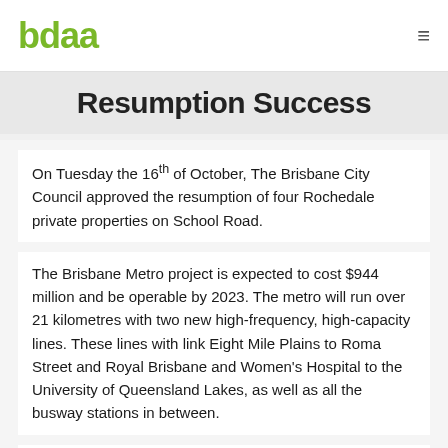bdaa
Resumption Success
On Tuesday the 16th of October, The Brisbane City Council approved the resumption of four Rochedale private properties on School Road.
The Brisbane Metro project is expected to cost $944 million and be operable by 2023. The metro will run over 21 kilometres with two new high-frequency, high-capacity lines. These lines with link Eight Mile Plains to Roma Street and Royal Brisbane and Women's Hospital to the University of Queensland Lakes, as well as all the busway stations in between.
The first notices to the landowners were sent out on June 29th this year, and no one objected. As such, there is now the 4.5-hectare site at Rochedale is allocated for